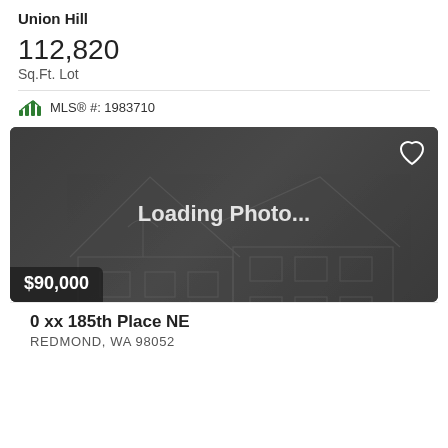Union Hill
112,820
Sq.Ft. Lot
MLS® #: 1983710
[Figure (photo): Loading Photo placeholder image with house outline illustration on dark background, price badge $90,000 at bottom left, heart icon at top right]
0 xx 185th Place NE
REDMOND, WA 98052